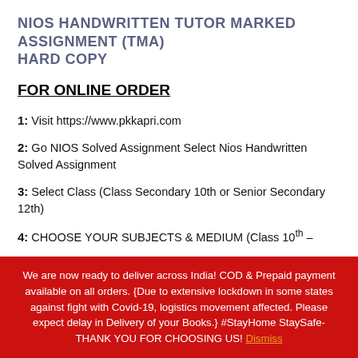NIOS HANDWRITTEN TUTOR MARKED ASSIGNMENT (TMA) HARD COPY
FOR ONLINE ORDER
1: Visit https://www.pkkapri.com
2: Go NIOS Solved Assignment Select Nios Handwritten Solved Assignment
3: Select Class (Class Secondary 10th or Senior Secondary 12th)
4: CHOOSE YOUR SUBJECTS & MEDIUM (Class 10th –
We are now ready to deliver across India! COD & Prepaid payment available on all orders. {Due to extensive lockdown in some states against fight with Covid-19, logistics movement affected. Please expect delay in Delivery of your Books.} #StayHome StaySafe- THANK YOU FOR CHOOSING US! Dismiss